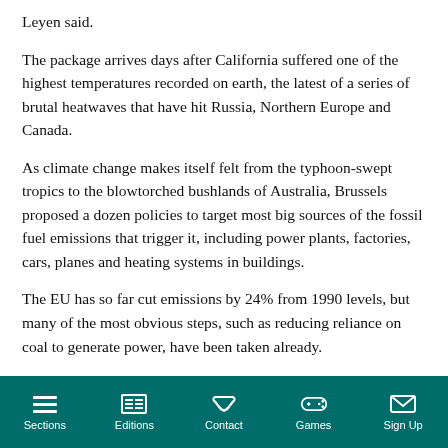Leyen said.
The package arrives days after California suffered one of the highest temperatures recorded on earth, the latest of a series of brutal heatwaves that have hit Russia, Northern Europe and Canada.
As climate change makes itself felt from the typhoon-swept tropics to the blowtorched bushlands of Australia, Brussels proposed a dozen policies to target most big sources of the fossil fuel emissions that trigger it, including power plants, factories, cars, planes and heating systems in buildings.
The EU has so far cut emissions by 24% from 1990 levels, but many of the most obvious steps, such as reducing reliance on coal to generate power, have been taken already.
Sections  Editions  Contact  Games  Sign Up